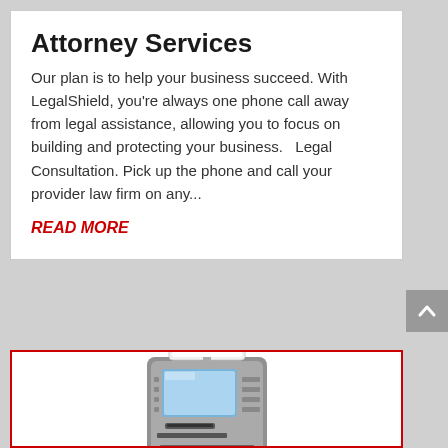Attorney Services
Our plan is to help your business succeed. With LegalShield, you're always one phone call away from legal assistance, allowing you to focus on building and protecting your business.   Legal Consultation. Pick up the phone and call your provider law firm on any...
READ MORE
[Figure (photo): Photo of an ATM machine with a red ATM sign on top]